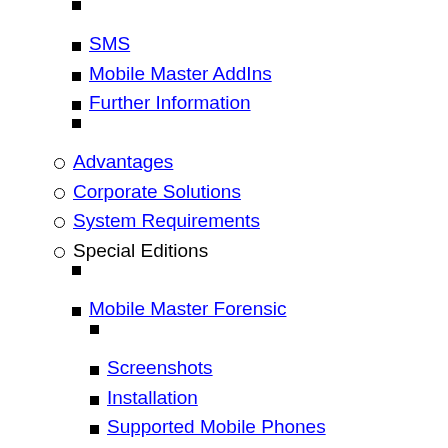SMS
Mobile Master AddIns
Further Information
Advantages
Corporate Solutions
System Requirements
Special Editions
Mobile Master Forensic
Screenshots
Installation
Supported Mobile Phones
Available Reports
Readable Data
Test license
Download
Full Installation
Copy Station